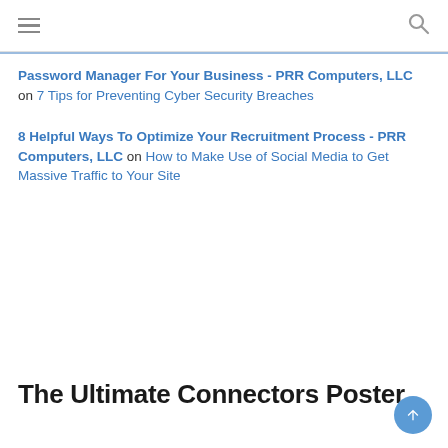hamburger menu | search icon
Password Manager For Your Business - PRR Computers, LLC on 7 Tips for Preventing Cyber Security Breaches
8 Helpful Ways To Optimize Your Recruitment Process - PRR Computers, LLC on How to Make Use of Social Media to Get Massive Traffic to Your Site
The Ultimate Connectors Poster